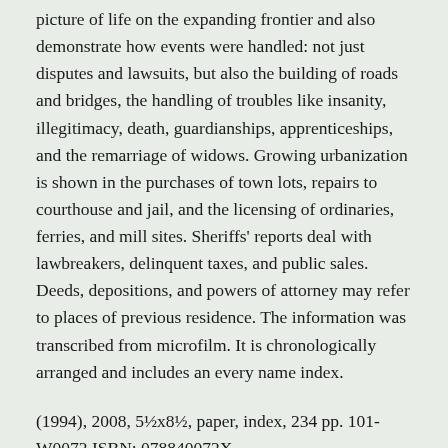picture of life on the expanding frontier and also demonstrate how events were handled: not just disputes and lawsuits, but also the building of roads and bridges, the handling of troubles like insanity, illegitimacy, death, guardianships, apprenticeships, and the remarriage of widows. Growing urbanization is shown in the purchases of town lots, repairs to courthouse and jail, and the licensing of ordinaries, ferries, and mill sites. Sheriffs' reports deal with lawbreakers, delinquent taxes, and public sales. Deeds, depositions, and powers of attorney may refer to places of previous residence. The information was transcribed from microfilm. It is chronologically arranged and includes an every name index.
(1994), 2008, 5½x8½, paper, index, 234 pp. 101-W0072 ISBN: 078840072X
Share